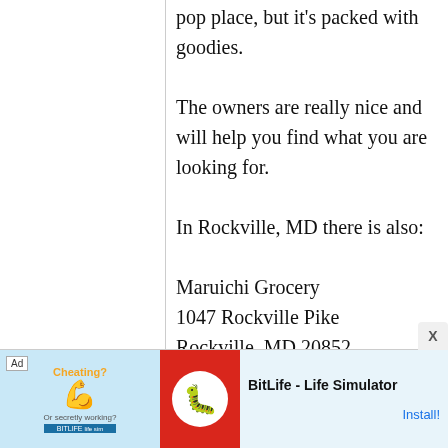pop place, but it's packed with goodies. The owners are really nice and will help you find what you are looking for.

In Rockville, MD there is also:

Maruichi Grocery
1047 Rockville Pike
Rockville, MD 20852
[Figure (other): Advertisement banner for BitLife - Life Simulator app, showing a 'Cheating?' ad with a muscle emoji graphic, red BitLife logo, app name, and Install button.]